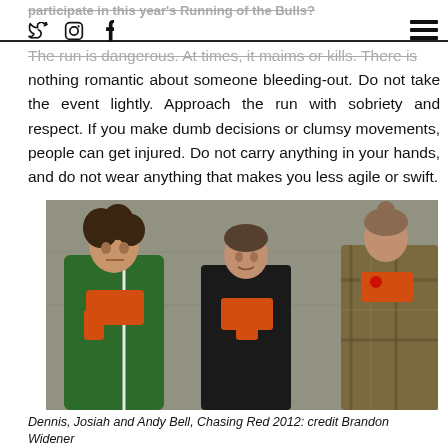participate in this year's Running of the Bulls?
The run is dangerous. At times, it maims or kills. There is nothing romantic about someone bleeding-out. Do not take the event lightly. Approach the run with sobriety and respect. If you make dumb decisions or clumsy movements, people can get injured. Do not carry anything in your hands, and do not wear anything that makes you less agile or swift.
[Figure (photo): Three men wearing orange/red bandanas around their necks standing together. The man on the left wears a green jacket, the man in the middle wears a black shirt, and the man on the right wears a plaid flannel shirt. They appear to be having a conversation in front of a concrete wall.]
Dennis, Josiah and Andy Bell, Chasing Red 2012: credit Brandon Widener